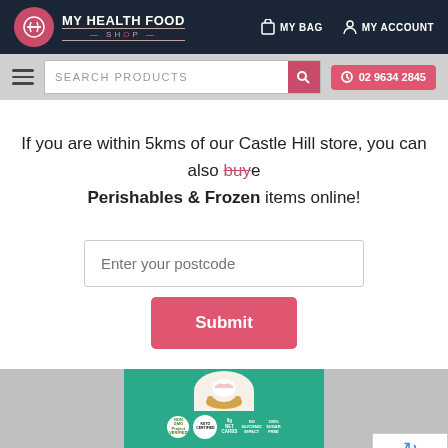MY HEALTH FOOD SHOP | MY BAG | MY ACCOUNT
SEARCH PRODUCTS | 02 9634 2845
If you are within 5kms of our Castle Hill store, you can also buy Perishables & Frozen items online!
Enter your postcode
Submit
[Figure (photo): Keto certified product packaging showing a cupcake, with NON-GMO Verified, Keto Certified badges, and labels: 0g Net Carbs, No Glycemic Impact, 100% Sugar Free]